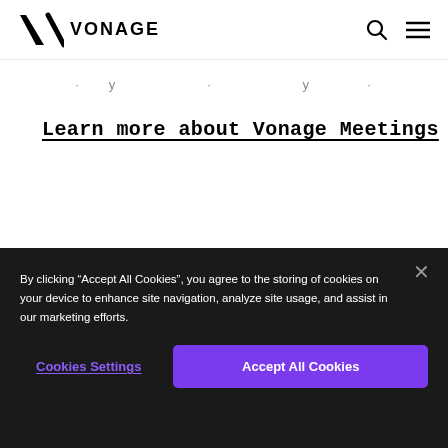VONAGE
· y · y ·
Learn more about Vonage Meetings
By clicking "Accept All Cookies", you agree to the storing of cookies on your device to enhance site navigation, analyze site usage, and assist in our marketing efforts.
Cookies Settings
Accept All Cookies